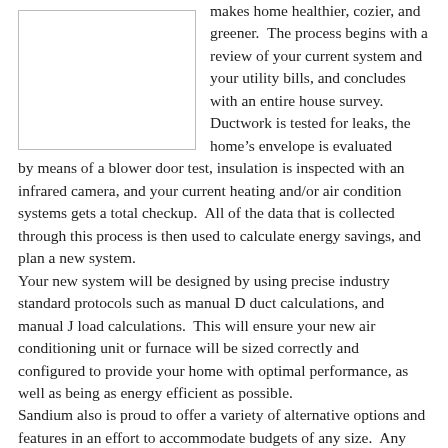[Figure (photo): White rectangular placeholder image on the left side of the page]
makes home healthier, cozier, and greener. The process begins with a review of your current system and your utility bills, and concludes with an entire house survey. Ductwork is tested for leaks, the home's envelope is evaluated by means of a blower door test, insulation is inspected with an infrared camera, and your current heating and/or air condition systems gets a total checkup. All of the data that is collected through this process is then used to calculate energy savings, and plan a new system.
Your new system will be designed by using precise industry standard protocols such as manual D duct calculations, and manual J load calculations. This will ensure your new air conditioning unit or furnace will be sized correctly and configured to provide your home with optimal performance, as well as being as energy efficient as possible.
Sandium also is proud to offer a variety of alternative options and features in an effort to accommodate budgets of any size. Any and all manufacturer, tax, or utility rebates will be researched and explained to you in clear language, without any confusing terms or obscure conditions. Following the consultation, Sandium's comfort consultants remain available to provide further assistance by phone or email.
Once you have reviewed and approved your customized proposal, Sandium